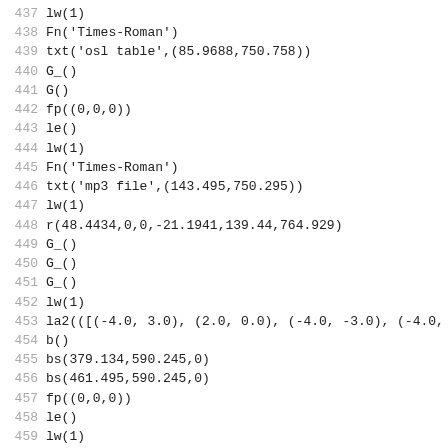437 lw(1)
438 Fn('Times-Roman')
439 txt('osl table',(85.9688,750.758))
440 G_()
441 G()
442 fp((0,0,0))
443 le()
444 lw(1)
445 Fn('Times-Roman')
446 txt('mp3 file',(143.495,750.295))
447 lw(1)
448 r(48.4434,0,0,-21.1941,139.44,764.929)
449 G_()
450 G_()
451 G_()
452 lw(1)
453 la2(([(-4.0, 3.0), (2.0, 0.0), (-4.0, -3.0), (-4.0, 3.
454 b()
455 bs(379.134,590.245,0)
456 bs(461.495,590.245,0)
457 fp((0,0,0))
458 le()
459 lw(1)
460 Fn('Times-Roman')
461 txt('mp3 data',(397.646,596.3))
462 G()
463 lw(1)
464 r(120.099,0,0,-53.4896,68.2886,608.411)
465 fp((0,0,0))
466 le()
467 lw(1)
468 Fn('Times-Roman')
469 Fn(24)